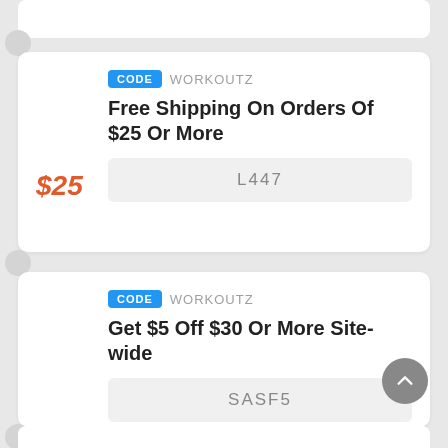$25
CODE  WORKOUTZ
Free Shipping On Orders Of $25 Or More
L447
$5
CODE  WORKOUTZ
Get $5 Off $30 Or More Site-wide
SASF5